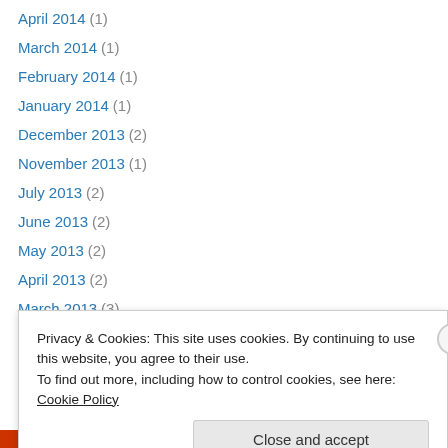April 2014 (1)
March 2014 (1)
February 2014 (1)
January 2014 (1)
December 2013 (2)
November 2013 (1)
July 2013 (2)
June 2013 (2)
May 2013 (2)
April 2013 (2)
March 2013 (3)
February 2013 (2)
January 2013 (2)
December 2012 (2)
Privacy & Cookies: This site uses cookies. By continuing to use this website, you agree to their use.
To find out more, including how to control cookies, see here: Cookie Policy